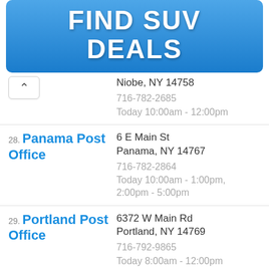[Figure (screenshot): Blue button with white bold text reading FIND SUV DEALS]
Niobe, NY 14758
716-782-2685
Today 10:00am - 12:00pm
28. Panama Post Office
6 E Main St
Panama, NY 14767
716-782-2864
Today 10:00am - 1:00pm, 2:00pm - 5:00pm
29. Portland Post Office
6372 W Main Rd
Portland, NY 14769
716-792-9865
Today 8:00am - 12:00pm
30. Ripley Post Office
7 W Main St
Ripley, NY 14775
716-736-7065
Today 8:00am - 1:00pm